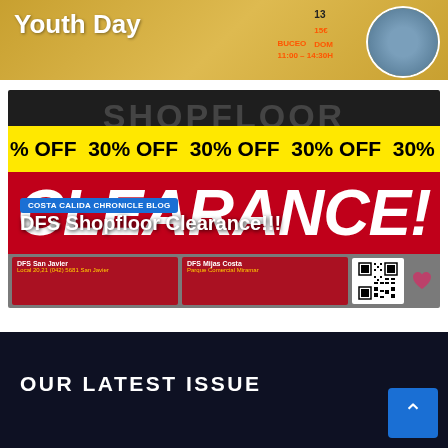[Figure (photo): Youth Day event banner with golden background, white text 'Youth Day', orange schedule info (DOM 13, BUCEO, 11:00-14:30H, 15€, DOM 14), and a circular photo of people on the right]
[Figure (photo): DFS Shopfloor Clearance promotional image with dark background showing 'SHOPFLOOR' text, yellow diagonal stripe reading '30% OFF 30% OFF 30% OFF', large white italic 'CLEARANCE!' text on red background, and store location cards at bottom (DFS San Javier, DFS Mijas Costa). Blue label reads 'COSTA CALIDA CHRONICLE BLOG', white title 'DFS Shopfloor Clearance!!!']
OUR LATEST ISSUE